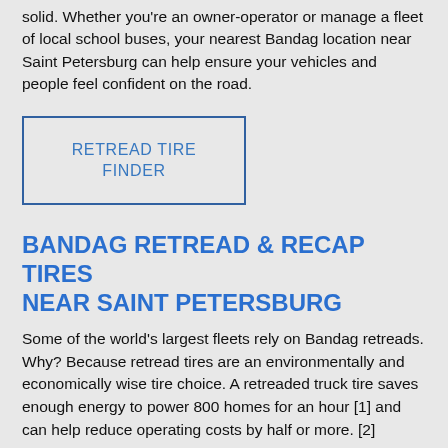solid. Whether you're an owner-operator or manage a fleet of local school buses, your nearest Bandag location near Saint Petersburg can help ensure your vehicles and people feel confident on the road.
RETREAD TIRE FINDER
BANDAG RETREAD & RECAP TIRES NEAR SAINT PETERSBURG
Some of the world's largest fleets rely on Bandag retreads. Why? Because retread tires are an environmentally and economically wise tire choice. A retreaded truck tire saves enough energy to power 800 homes for an hour [1] and can help reduce operating costs by half or more. [2]
You may want to know what sets Bandag retread dealers apart from other tire retreaders in nearby Saint Petersburg. It starts with decades of experience and an unwavering dedication to quality. Our tread designs are specialized to match your fleet's application. They're tested again and again under real loads, in